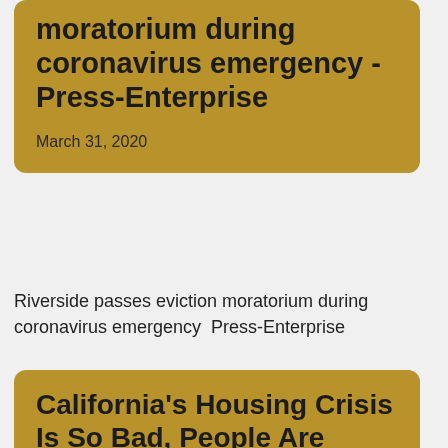moratorium during coronavirus emergency - Press-Enterprise
March 31, 2020
Riverside passes eviction moratorium during coronavirus emergency  Press-Enterprise
California's Housing Crisis Is So Bad, People Are Turning To Rent Strikes And Squatting - HuffPost
March 11, 2020